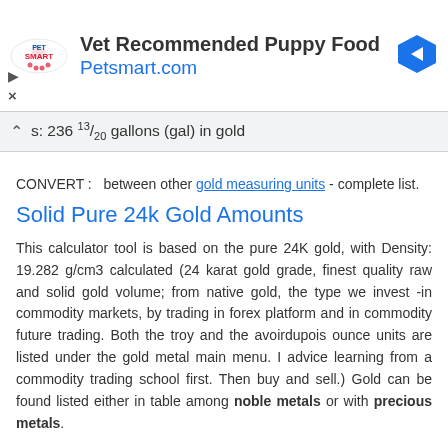[Figure (screenshot): PetSmart advertisement banner showing logo, 'Vet Recommended Puppy Food', 'Petsmart.com', and a blue arrow icon]
s: 236 13/20 gallons (gal) in gold
CONVERT :   between other gold measuring units - complete list.
Solid Pure 24k Gold Amounts
This calculator tool is based on the pure 24K gold, with Density: 19.282 g/cm3 calculated (24 karat gold grade, finest quality raw and solid gold volume; from native gold, the type we invest -in commodity markets, by trading in forex platform and in commodity future trading. Both the troy and the avoirdupois ounce units are listed under the gold metal main menu. I advice learning from a commodity trading school first. Then buy and sell.) Gold can be found listed either in table among noble metals or with precious metals.